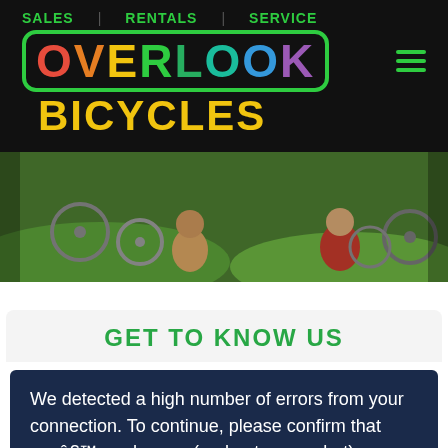SALES   RENTALS   SERVICE
OVERLOOK BICYCLES
[Figure (photo): Children sitting on grass with bicycles around them outdoors]
GET TO KNOW US
We detected a high number of errors from your connection. To continue, please confirm that youâ€™re a human (and not a spambot).